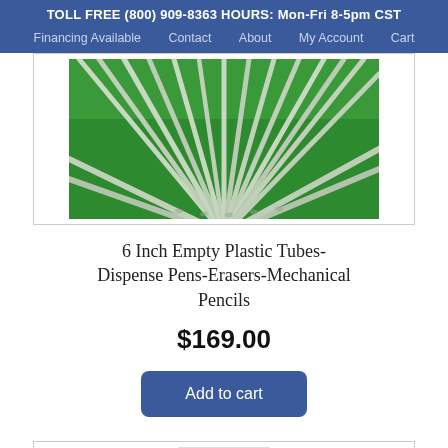TOLL FREE (800) 909-8363 HOURS: Mon-Fri 8-5pm CST
Financing Available  Contact  About  My Account  Cart
[Figure (photo): Photo of clear/translucent plastic tubes fanned out against a green background]
6 Inch Empty Plastic Tubes-Dispense Pens-Erasers-Mechanical Pencils
$169.00
Add to cart
[Figure (photo): Small thumbnail image of a related product]